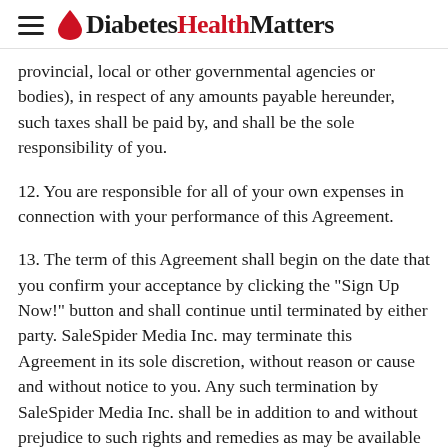DiabetesHealthMatters
provincial, local or other governmental agencies or bodies), in respect of any amounts payable hereunder, such taxes shall be paid by, and shall be the sole responsibility of you.
12. You are responsible for all of your own expenses in connection with your performance of this Agreement.
13. The term of this Agreement shall begin on the date that you confirm your acceptance by clicking the "Sign Up Now!" button and shall continue until terminated by either party. SaleSpider Media Inc. may terminate this Agreement in its sole discretion, without reason or cause and without notice to you. Any such termination by SaleSpider Media Inc. shall be in addition to and without prejudice to such rights and remedies as may be available to SaleSpider Media Inc. Upon termination